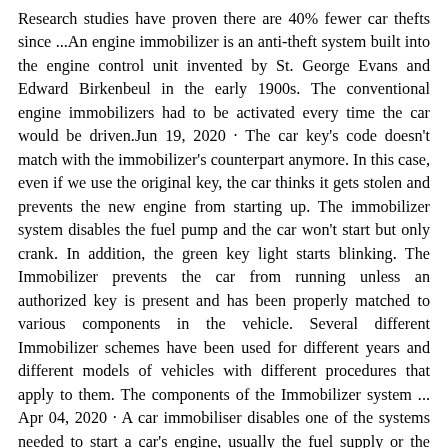Research studies have proven there are 40% fewer car thefts since ...An engine immobilizer is an anti-theft system built into the engine control unit invented by St. George Evans and Edward Birkenbeul in the early 1900s. The conventional engine immobilizers had to be activated every time the car would be driven.Jun 19, 2020 · The car key's code doesn't match with the immobilizer's counterpart anymore. In this case, even if we use the original key, the car thinks it gets stolen and prevents the new engine from starting up. The immobilizer system disables the fuel pump and the car won't start but only crank. In addition, the green key light starts blinking. The Immobilizer prevents the car from running unless an authorized key is present and has been properly matched to various components in the vehicle. Several different Immobilizer schemes have been used for different years and different models of vehicles with different procedures that apply to them. The components of the Immobilizer system ... Apr 04, 2020 · A car immobiliser disables one of the systems needed to start a car's engine, usually the fuel supply or the ignition. This is accomplished by RF identification between a transponder in the ignition key and a device called a RF reader in the steering column. The transponder sends a signal with a unique identification code to the reader, which ... Step 1: Overview of the Immobilizer System. Here's an overview on how the immobilizer system works on older Toyota and Lexus vehicles. When you insert the key, a coil near the ignition ring picks up the RFID signal